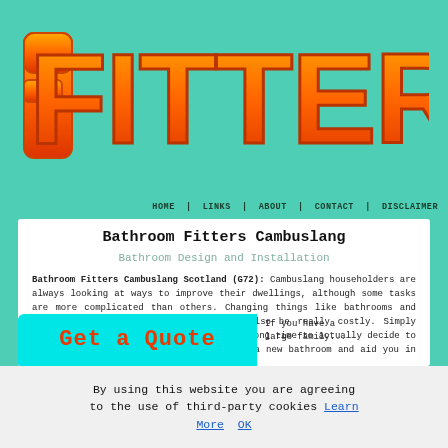[Figure (logo): FITTEROO logo in large bold orange gradient letters on teal/green background]
HOME | LINKS | ABOUT | CONTACT | DISCLAIMER
Bathroom Fitters Cambuslang
Bathroom Design and Installation
Bathroom Fitters Cambuslang Scotland (G72): Cambuslang householders are always looking at ways to improve their dwellings, although some tasks are more complicated than others. Changing things like bathrooms and kitchens can be pretty messy and can also be really costly. Simply because of that, it may possibly take a long time to actually decide to do it. This post is focused on planning a new bathroom and aid you in setting your mind at rest.
[Figure (other): Get a Quote button in cyan/teal background with large red bold text]
If you have a large family...
By using this website you are agreeing to the use of third-party cookies Learn More OK